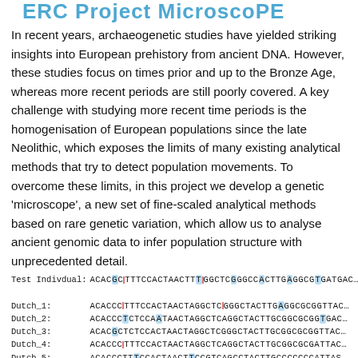ERC Project MicroscoPE
In recent years, archaeogenetic studies have yielded striking insights into European prehistory from ancient DNA. However, these studies focus on times prior and up to the Bronze Age, whereas more recent periods are still poorly covered. A key challenge with studying more recent time periods is the homogenisation of European populations since the late Neolithic, which exposes the limits of many existing analytical methods that try to detect population movements. To overcome these limits, in this project we develop a genetic 'microscope', a new set of fine-scaled analytical methods based on rare genetic variation, which allow us to analyse ancient genomic data to infer population structure with unprecedented detail.
[Figure (other): DNA sequence alignment table showing Test Individual and Dutch_1 through Dutch_5 sequences with highlighted variants (blue and red-outlined bases) in monospace font. Sequences shown: ACACGCTTTCCACTAACTTGGCTCGGGCCACTTGAGGCGTGATGAC… and similar variants for Dutch_1 through Dutch_5.]